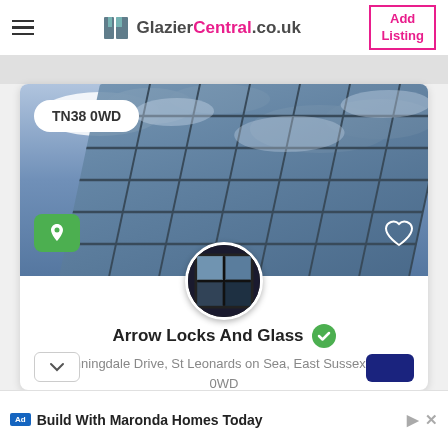GlazierCentral.co.uk  | Add Listing
[Figure (screenshot): Business listing card for Arrow Locks And Glass on GlazierCentral.co.uk. Shows a hero photo of a glass building facade reflecting sky, with a TN38 0WD postcode badge, green location pin button, heart icon, and a circular profile photo of a window.]
Arrow Locks And Glass
7 Sunningdale Drive, St Leonards on Sea, East Sussex TN38 0WD
Build With Maronda Homes Today